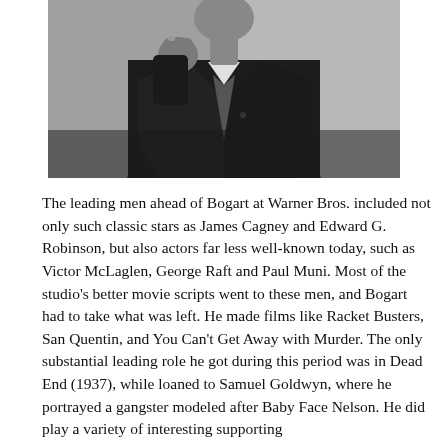[Figure (photo): Black and white photograph of a man in a dark suit, upper body visible, with one hand raised near his chest/face area. The background is a plain grey studio backdrop.]
The leading men ahead of Bogart at Warner Bros. included not only such classic stars as James Cagney and Edward G. Robinson, but also actors far less well-known today, such as Victor McLaglen, George Raft and Paul Muni. Most of the studio's better movie scripts went to these men, and Bogart had to take what was left. He made films like Racket Busters, San Quentin, and You Can't Get Away with Murder. The only substantial leading role he got during this period was in Dead End (1937), while loaned to Samuel Goldwyn, where he portrayed a gangster modeled after Baby Face Nelson. He did play a variety of interesting supporting